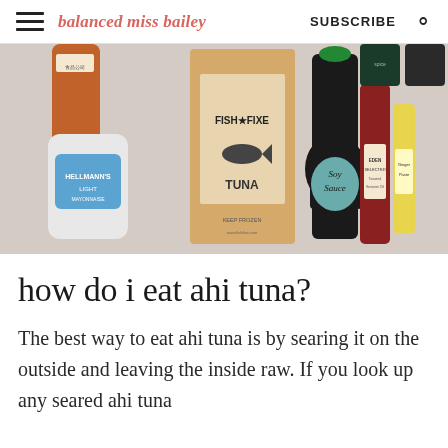balanced miss bailey | SUBSCRIBE
[Figure (photo): Flat lay of various cooking ingredients including Hellmann's Light Mayonnaise, Fish Fixe Tuna bag, Soy Sauce bottle, Eden Selected Toasted Sesame Oil, ginger paste tube, and various spice bottles on a white surface.]
how do i eat ahi tuna?
The best way to eat ahi tuna is by searing it on the outside and leaving the inside raw. If you look up any seared ahi tuna